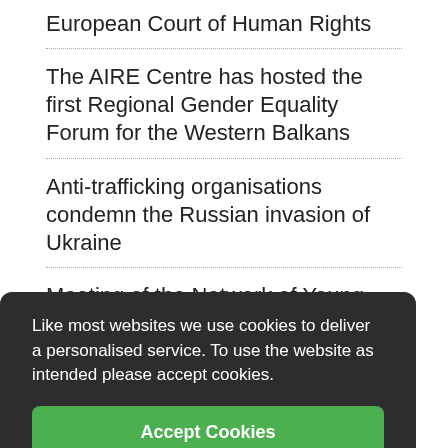European Court of Human Rights
The AIRE Centre has hosted the first Regional Gender Equality Forum for the Western Balkans
Anti-trafficking organisations condemn the Russian invasion of Ukraine
Meeting of the Network of Young Judges in Montenegro
Regional Seminar on Standards and Practices of Confiscation of Criminal Assets
Analysis of Sentencing Practices for the Gravest Crimes in Montenegro
AIRE Centre joins call for lifting EUSS deadline
Fourth Annual Conference of the Judicial Forum for Bosnia and Herzegovina devoted to Publicity and
Like most websites we use cookies to deliver a personalised service. To use the website as intended please accept cookies.
Accept Cookies